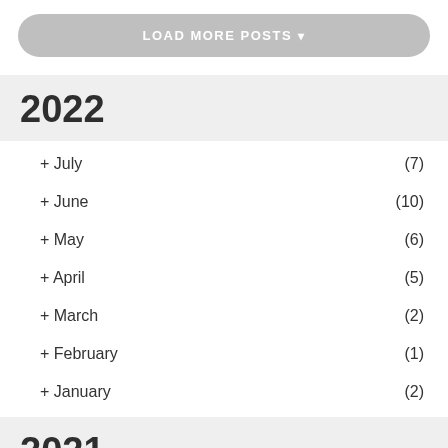LOAD MORE POSTS ▾
2022
+ July (7)
+ June (10)
+ May (6)
+ April (5)
+ March (2)
+ February (1)
+ January (2)
2021
2020
2019